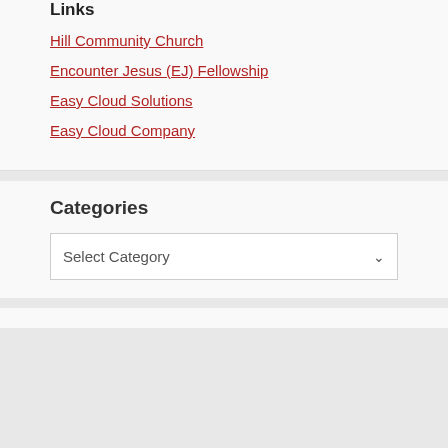Links
Hill Community Church
Encounter Jesus (EJ) Fellowship
Easy Cloud Solutions
Easy Cloud Company
Categories
Select Category